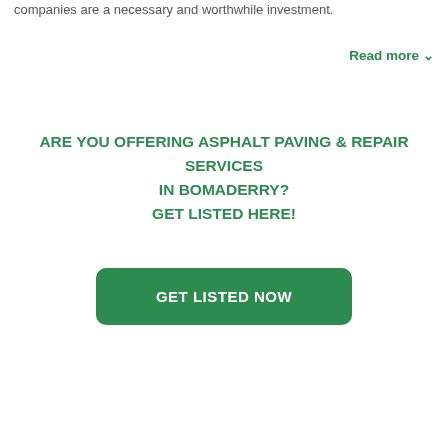companies are a necessary and worthwhile investment.
Read more
ARE YOU OFFERING ASPHALT PAVING & REPAIR SERVICES IN BOMADERRY?
GET LISTED HERE!
GET LISTED NOW